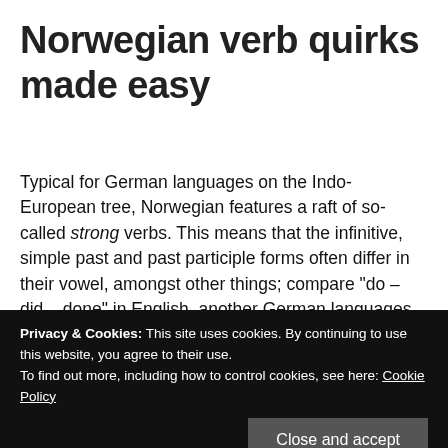Norwegian verb quirks made easy
Typical for German languages on the Indo-European tree, Norwegian features a raft of so-called strong verbs. This means that the infinitive, simple past and past participle forms often differ in their vowel, amongst other things; compare "do – did – done" in English, another German languages. A good example is 'to see': in Norwegian, "se – så – sett" (see, saw, seen).
Privacy & Cookies: This site uses cookies. By continuing to use this website, you agree to their use.
To find out more, including how to control cookies, see here: Cookie Policy
core vocab in the language